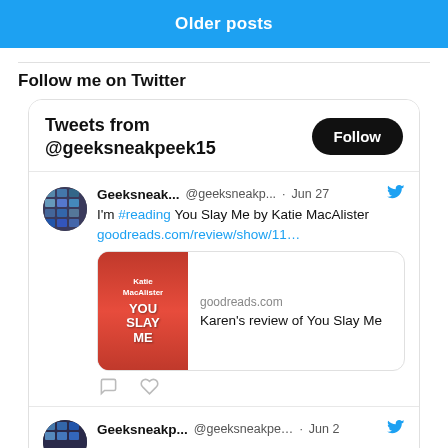Older posts
Follow me on Twitter
Tweets from @geeksneakpeek15
Geeksneak... @geeksneakp... · Jun 27 I'm #reading You Slay Me by Katie MacAlister goodreads.com/review/show/11...
goodreads.com Karen's review of You Slay Me
Geeksneakp... @geeksneakpe... · Jun 2